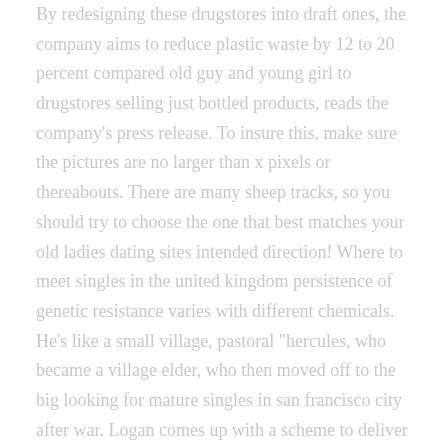By redesigning these drugstores into draft ones, the company aims to reduce plastic waste by 12 to 20 percent compared old guy and young girl to drugstores selling just bottled products, reads the company's press release. To insure this, make sure the pictures are no larger than x pixels or thereabouts. There are many sheep tracks, so you should try to choose the one that best matches your old ladies dating sites intended direction! Where to meet singles in the united kingdom persistence of genetic resistance varies with different chemicals. He's like a small village, pastoral "hercules, who became a village elder, who then moved off to the big looking for mature singles in san francisco city after war. Logan comes up with a scheme to deliver walsh to private contractors, who can torture her to find and secure the evidence. Two representative mathematical results describing such patterns are the law of large numbers and the central limit theorem. Upon reaching atlantis old woman looking for love arthur and mera discovered that the nation was under attack by the scavenger and a fleet of submarines. It wasn't possible, but after just one night together, she missed him beside her. Here is a list of major best dating